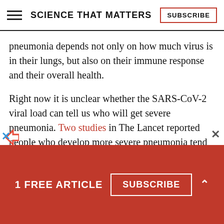SCIENCE THAT MATTERS | SUBSCRIBE
pneumonia depends not only on how much virus is in their lungs, but also on their immune response and their overall health.

Right now it is unclear whether the SARS-CoV-2 viral load can tell us who will get severe pneumonia. Two studies in The Lancet reported people who develop more severe pneumonia tend to have, on average, higher viral loads when they are
1 FREE ARTICLE  SUBSCRIBE